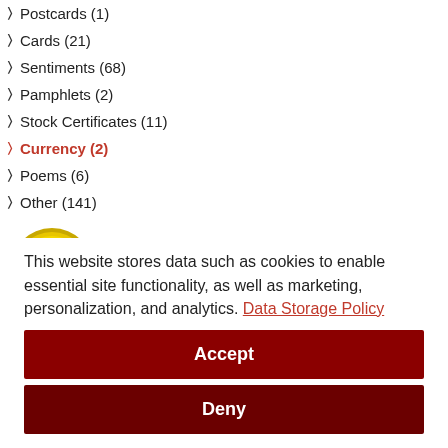Postcards (1)
Cards (21)
Sentiments (68)
Pamphlets (2)
Stock Certificates (11)
Currency (2)
Poems (6)
Other (141)
[Figure (logo): Authorize.Net Verified Merchant seal and GoDaddy.com Verified & Secured badge]
This website stores data such as cookies to enable essential site functionality, as well as marketing, personalization, and analytics. Data Storage Policy
Accept
Deny